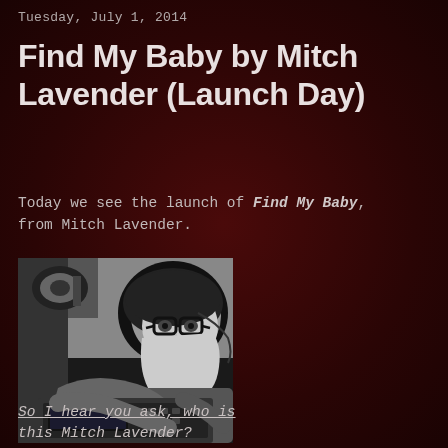Tuesday, July 1, 2014
Find My Baby by Mitch Lavender (Launch Day)
Today we see the launch of Find My Baby, from Mitch Lavender.
[Figure (photo): High-contrast black and white stylized photo of a man wearing glasses, smiling, bent over what appears to be a typewriter or keyboard device, with headphones visible in the background.]
So I hear you ask, who is this Mitch Lavender?